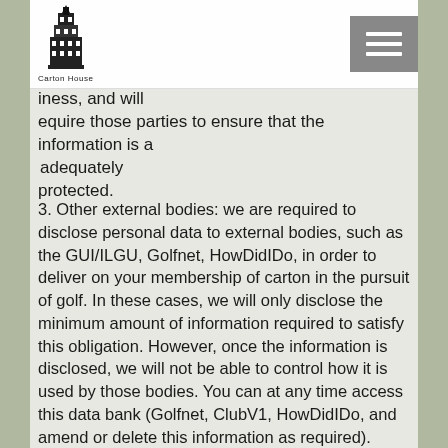Carton House
iness, and will
equire those parties to ensure that the information is adequately protected.
3. Other external bodies: we are required to disclose personal data to external bodies, such as the GUI/ILGU, Golfnet, HowDidIDo, in order to deliver on your membership of carton in the pursuit of golf. In these cases, we will only disclose the minimum amount of information required to satisfy this obligation. However, once the information is disclosed, we will not be able to control how it is used by those bodies. You can at any time access this data bank (Golfnet, ClubV1, HowDidIDo, and amend or delete this information as required). However minimum information is required to ensure your ability to play golf is maintained.